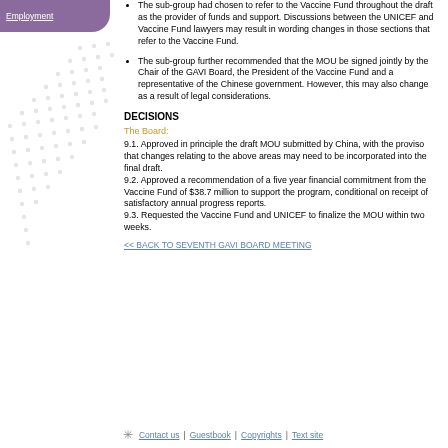Employment
The sub-group had chosen to refer to the Vaccine Fund throughout the draft as the provider of funds and support. Discussions between the UNICEF and Vaccine Fund lawyers may result in wording changes in those sections that refer to the Vaccine Fund.
The sub-group further recommended that the MOU be signed jointly by the Chair of the GAVI Board, the President of the Vaccine Fund and a representative of the Chinese government. However, this may also change as a result of legal considerations.
DECISIONS
The Board:
9.1. Approved in principle the draft MOU submitted by China, with the proviso that changes relating to the above areas may need to be incorporated into the final draft.
9.2. Approved a recommendation of a five year financial commitment from the Vaccine Fund of $38.7 million to support the program, conditional on receipt of satisfactory annual progress reports.
9.3. Requested the Vaccine Fund and UNICEF to finalize the MOU within two weeks.
<< BACK TO SEVENTH GAVI BOARD MEETING
Contact us | Guestbook | Copyrights | Text site